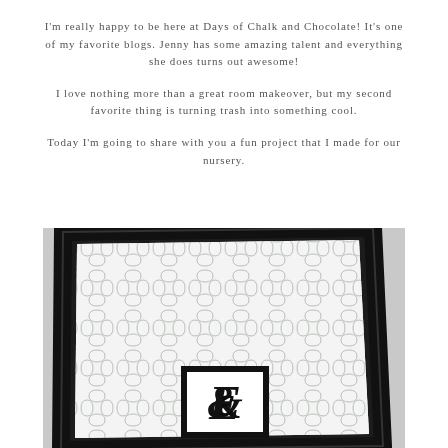I'm really happy to be here at Days of Chalk and Chocolate! It's one of my favorite blogs. Jenny has some amazing talent and everything she does turns out awesome!
I love nothing more than a great room makeover, but my second favorite thing is turning trash into something cool.
Today I'm going to share with you a fun project that I made for our nursery.
[Figure (photo): A black decorative frame with a white quatrefoil/moroccan pattern background, and a smaller black framed letter 'E' in cursive/script font centered at the bottom of the large frame. The frame is photographed at a slight angle.]